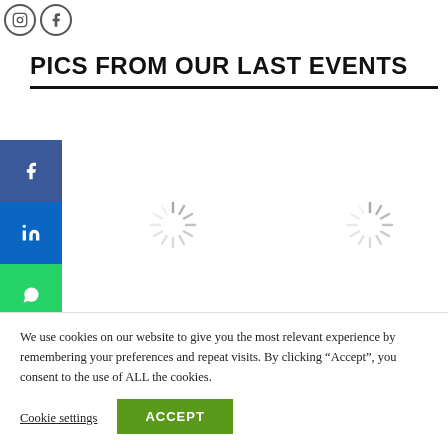[Figure (logo): Instagram and Facebook circular outline icons at top left]
PICS FROM OUR LAST EVENTS
[Figure (other): Social media sharing sidebar with Facebook (blue), LinkedIn (blue), WhatsApp (green), and Email (blue) buttons on the left side]
[Figure (other): Two loading spinner icons (animated loading indicators) in the content area]
We use cookies on our website to give you the most relevant experience by remembering your preferences and repeat visits. By clicking “Accept”, you consent to the use of ALL the cookies.
Cookie settings
ACCEPT